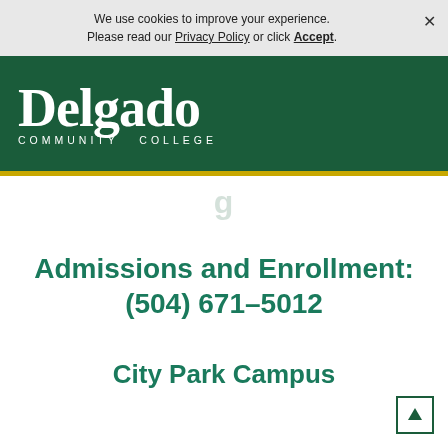We use cookies to improve your experience. Please read our Privacy Policy or click Accept.
[Figure (logo): Delgado Community College logo — white text on dark green background]
Admissions and Enrollment: (504) 671-5012
City Park Campus